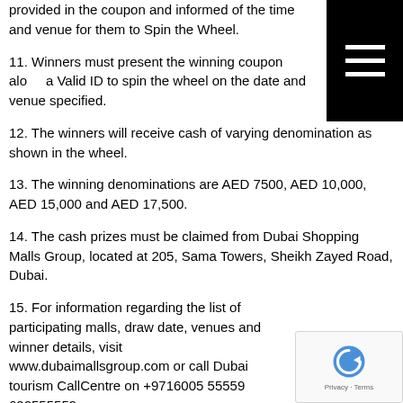provided in the coupon and informed of the time and venue for them to Spin the Wheel.
11. Winners must present the winning coupon along a Valid ID to spin the wheel on the date and venue specified.
12. The winners will receive cash of varying denomination as shown in the wheel.
13. The winning denominations are AED 7500, AED 10,000, AED 15,000 and AED 17,500.
14. The cash prizes must be claimed from Dubai Shopping Malls Group, located at 205, Sama Towers, Sheikh Zayed Road, Dubai.
15. For information regarding the list of participating malls, draw date, venues and winner details, visit www.dubaimallsgroup.com or call Dubai tourism CallCentre on +9716005 55559 600555559